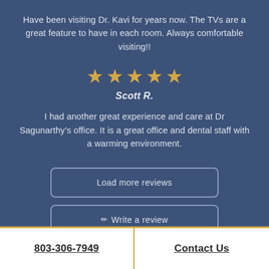Have been visiting Dr. Kavi for years now. The TVs are a great feature to have in each room. Always comfortable visiting!!
[Figure (other): Five gold star rating icons in a row]
Scott R.
I had another great experience and care at Dr Sagunarthy's office. It is a great office and dental staff with a warming environment.
Load more reviews
✏ Write a review
803-306-7949
Contact Us